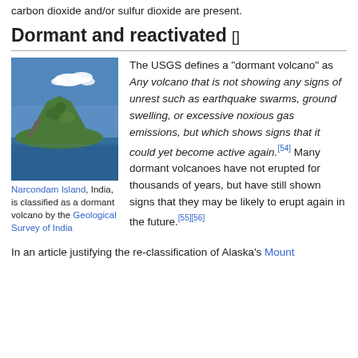carbon dioxide and/or sulfur dioxide are present.
Dormant and reactivated []
[Figure (photo): Photograph of Narcondam Island, India — a green volcanic island rising from blue sea water with white clouds in a blue sky above.]
Narcondam Island, India, is classified as a dormant volcano by the Geological Survey of India
The USGS defines a "dormant volcano" as Any volcano that is not showing any signs of unrest such as earthquake swarms, ground swelling, or excessive noxious gas emissions, but which shows signs that it could yet become active again.[54] Many dormant volcanoes have not erupted for thousands of years, but have still shown signs that they may be likely to erupt again in the future.[55][56]
In an article justifying the re-classification of Alaska's Mount